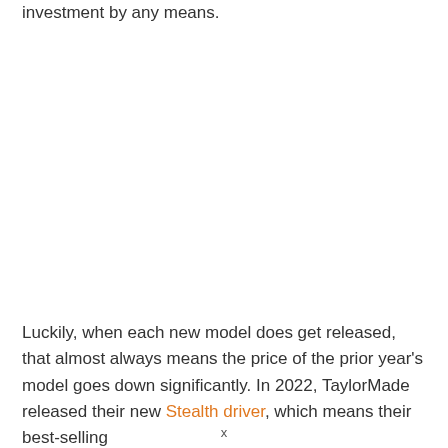investment by any means.
Luckily, when each new model does get released, that almost always means the price of the prior year's model goes down significantly. In 2022, TaylorMade released their new Stealth driver, which means their best-selling
x